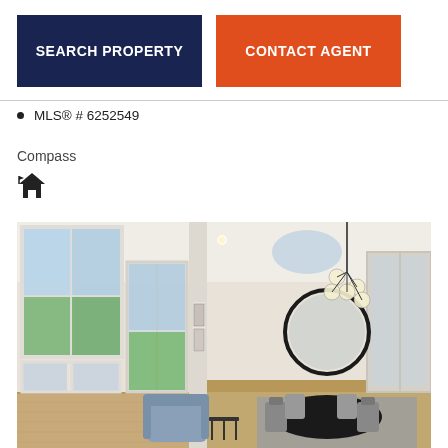SEARCH PROPERTY
CONTACT AGENT
MLS® # 6252549
Compass
[Figure (photo): Interior photo of a modern home showing an open-plan living and dining area with large windows, bright natural light, a blue armchair, small side table, steps leading to an elevated dining area with a round mirror, pendant light fixture with globe bulbs, dining table and chairs on a blue rug, and hardwood floors.]